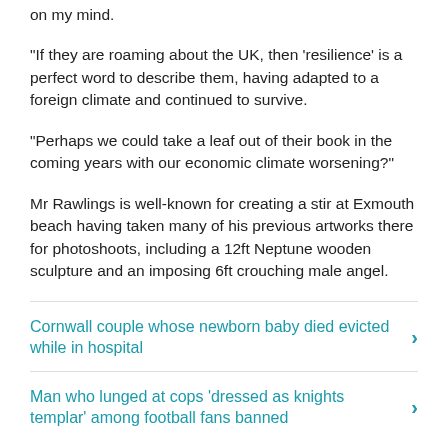on my mind.
"If they are roaming about the UK, then ‘resilience’ is a perfect word to describe them, having adapted to a foreign climate and continued to survive.
"Perhaps we could take a leaf out of their book in the coming years with our economic climate worsening?"
Mr Rawlings is well-known for creating a stir at Exmouth beach having taken many of his previous artworks there for photoshoots, including a 12ft Neptune wooden sculpture and an imposing 6ft crouching male angel.
Cornwall couple whose newborn baby died evicted while in hospital
Man who lunged at cops ‘dressed as knights templar’ among football fans banned